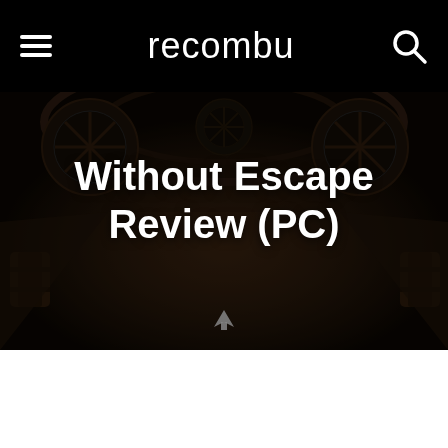recombu
[Figure (screenshot): Dark atmospheric game screenshot showing a dimly lit corridor with large fan-like ceiling structures, barrels on the sides, and a dark foreboding atmosphere. Used as hero image background for the article.]
Without Escape Review (PC)